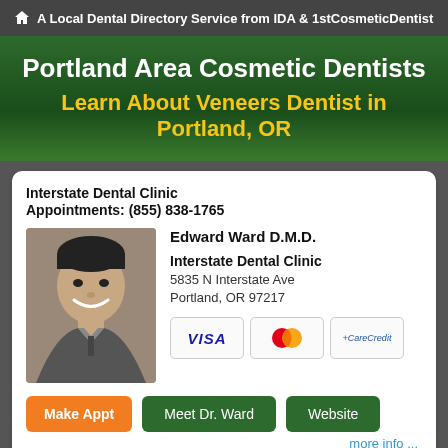A Local Dental Directory Service from IDA & 1stCosmeticDentist
Portland Area Cosmetic Dentists
Learn About Veneers Dentist in Portland, OR
Interstate Dental Clinic
Appointments: (855) 838-1765
[Figure (photo): Portrait photo of Edward Ward D.M.D., smiling man in suit]
Edward Ward D.M.D.
Interstate Dental Clinic
5835 N Interstate Ave
Portland, OR 97217
[Figure (infographic): Payment icons: VISA, MasterCard, CareCredit]
Make Appt  Meet Dr. Ward  Website
more info ...